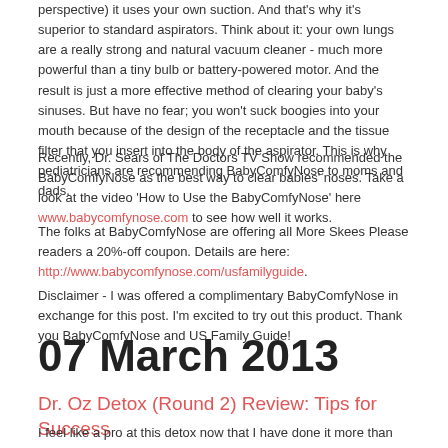perspective) it uses your own suction. And that's why it's superior to standard aspirators. Think about it: your own lungs are a really strong and natural vacuum cleaner - much more powerful than a tiny bulb or battery-powered motor. And the result is just a more effective method of clearing your baby's sinuses. But have no fear; you won't suck boogies into your mouth because of the design of the receptacle and the tissue filter that you insert into the body of the aspirator. This is why pediatricians are recommending BabyComfyNose to moms and dads.
Recently, Dr. Sears of The Doctors TV Show recommended the BabyComfyNose as the best way to clear babies' noses. Take a look at the video 'How to Use the BabyComfyNose' here www.babycomfynose.com to see how well it works.
The folks at BabyComfyNose are offering all More Skees Please readers a 20%-off coupon. Details are here: http://www.babycomfynose.com/usfamilyguide.
Disclaimer - I was offered a complimentary BabyComfyNose in exchange for this post. I'm excited to try out this product. Thank you BabyComfyNose and US Family Guide!
07 March 2013
Dr. Oz Detox (Round 2) Review: Tips for Success
I feel like a pro at this detox now that I have done it more than once. If you missed my initial review be sure to read that first. Go ahead…I'll wait :) I Survived the Dr. Oz 3-day Detox: A Review